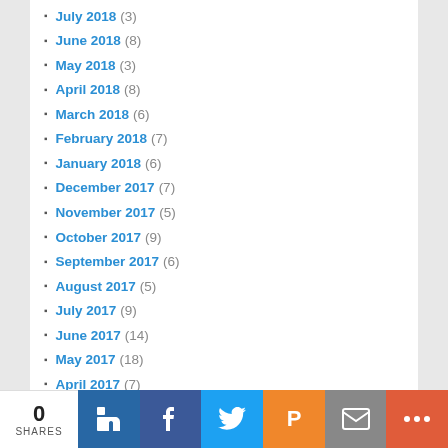July 2018 (3)
June 2018 (8)
May 2018 (3)
April 2018 (8)
March 2018 (6)
February 2018 (7)
January 2018 (6)
December 2017 (7)
November 2017 (5)
October 2017 (9)
September 2017 (6)
August 2017 (5)
July 2017 (9)
June 2017 (14)
May 2017 (18)
April 2017 (7)
March 2017 (11)
February 2017 (7)
January 2017 (5)
0 SHARES | LinkedIn | Facebook | Twitter | Pocket | Email | More